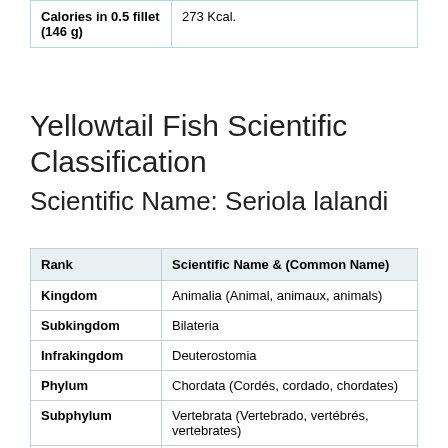| Calories in 0.5 fillet (146 g) |  |
| --- | --- |
| Calories in 0.5 fillet (146 g) | 273 Kcal. |
Yellowtail Fish Scientific Classification
Scientific Name: Seriola lalandi
| Rank | Scientific Name & (Common Name) |
| --- | --- |
| Kingdom | Animalia (Animal, animaux, animals) |
| Subkingdom | Bilateria |
| Infrakingdom | Deuterostomia |
| Phylum | Chordata  (Cordés, cordado, chordates) |
| Subphylum | Vertebrata  (Vertebrado, vertébrés, vertebrates) |
| Infraphylum | Gnathostomata |
| Superclass | Actinopterygii  (Ray-finned fishes, spiny rayed fishes, poisson épineux, poissons à nageoires rayonnées) |